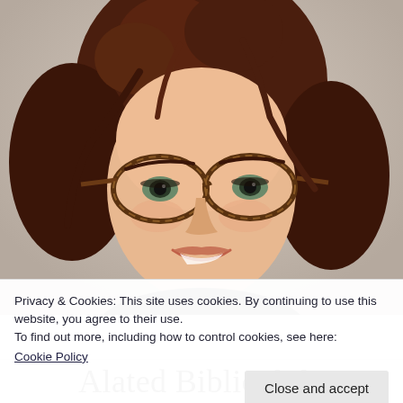[Figure (photo): Close-up portrait of a young woman with curly dark brown hair, wearing tortoiseshell cat-eye glasses, smiling at the camera against a neutral beige background.]
Privacy & Cookies: This site uses cookies. By continuing to use this website, you agree to their use.
To find out more, including how to control cookies, see here:
Cookie Policy
Close and accept
Alated Bibliophile